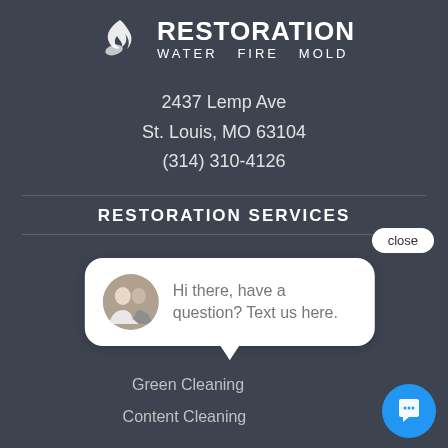[Figure (logo): Restoration company logo with flame/water swirl icon and text RESTORATION WATER FIRE MOLD]
2437 Lemp Ave
St. Louis, MO 63104
(314) 310-4126
RESTORATION SERVICES
[Figure (screenshot): Chat popup widget with avatar photo of two people and text: Hi there, have a question? Text us here.]
Green Cleaning
Content Cleaning